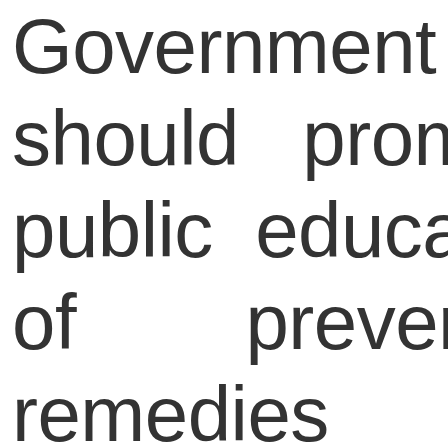Government should promote public education of prevention, remedies and rehabilitation of